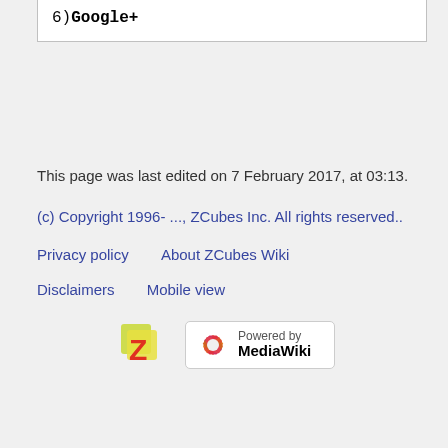6)Google+
This page was last edited on 7 February 2017, at 03:13.
(c) Copyright 1996- ..., ZCubes Inc. All rights reserved..
Privacy policy    About ZCubes Wiki    Disclaimers    Mobile view
[Figure (logo): ZCubes logo and Powered by MediaWiki badge]